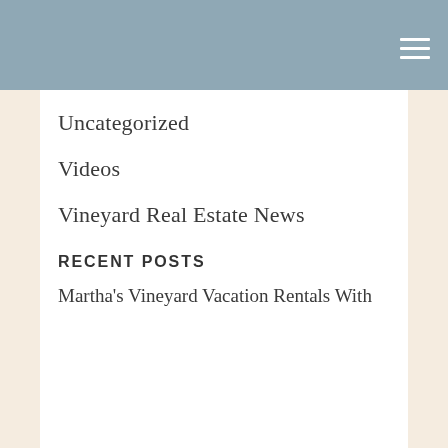Uncategorized
Videos
Vineyard Real Estate News
Vineyard Rentals
We Love MV
Winter on Martha's Vineyard
Your Island Home
RECENT POSTS
Martha's Vineyard Vacation Rentals With